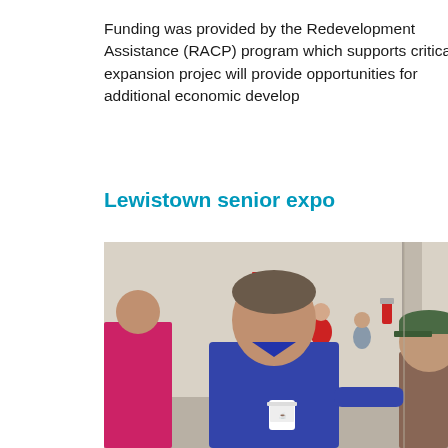Funding was provided by the Redevelopment Assistance (RACP) program which supports critical expansion projec will provide opportunities for additional economic develop
Lewistown senior expo
[Figure (photo): Indoor event photo showing a man in a blue polo shirt holding a cup, talking with an elderly man in a green cap. Background shows other attendees including a person in a red shirt, in what appears to be a community center or event hall.]